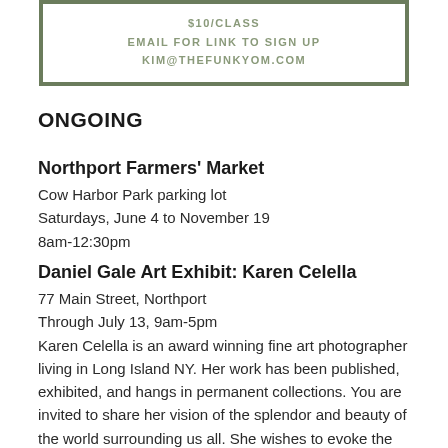[Figure (other): Green-bordered box with white inner area showing text: $10/CLASS, EMAIL FOR LINK TO SIGN UP, KIM@THEFUNKYOM.COM]
ONGOING
Northport Farmers' Market
Cow Harbor Park parking lot
Saturdays, June 4 to November 19
8am-12:30pm
Daniel Gale Art Exhibit: Karen Celella
77 Main Street, Northport
Through July 13, 9am-5pm
Karen Celella is an award winning fine art photographer living in Long Island NY. Her work has been published, exhibited, and hangs in permanent collections. You are invited to share her vision of the splendor and beauty of the world surrounding us all. She wishes to evoke the sights and emotions that